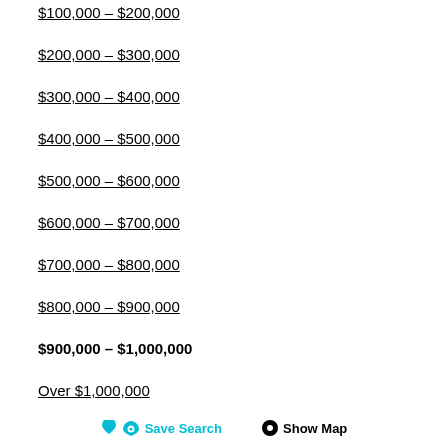$100,000 – $200,000
$200,000 – $300,000
$300,000 – $400,000
$400,000 – $500,000
$500,000 – $600,000
$600,000 – $700,000
$700,000 – $800,000
$800,000 – $900,000
$900,000 – $1,000,000
Over $1,000,000
Save Search   Show Map